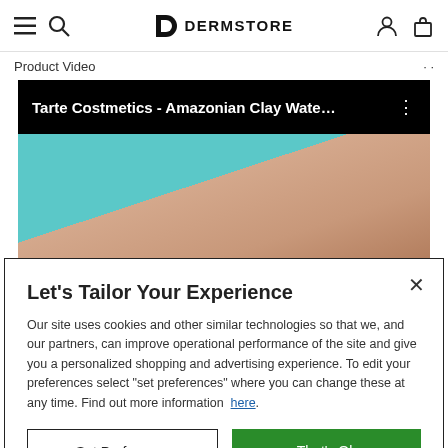DERMSTORE
Product Video
[Figure (screenshot): YouTube video thumbnail for 'Tarte Costmetics - Amazonian Clay Wate...' showing a close-up of a person's forehead and eyebrow against a teal background]
Let's Tailor Your Experience
Our site uses cookies and other similar technologies so that we, and our partners, can improve operational performance of the site and give you a personalized shopping and advertising experience. To edit your preferences select "set preferences" where you can change these at any time. Find out more information here.